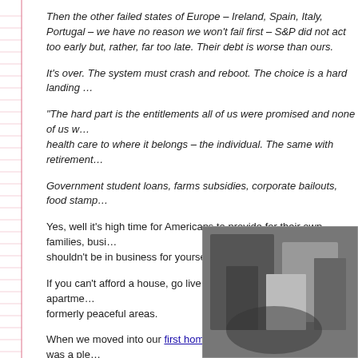Then the other failed states of Europe – Ireland, Spain, Italy, Portugal – we have no reason we won't fail first – S&P did not act too early but, rather, far too late. Their debt is worse than ours.
It's over. The system must crash and reboot. The choice is a hard landing or a crash.
"The hard part is the entitlements all of us were promised and none of us want to give up. Return health care to where it belongs – the individual. The same with retirement."
Government student loans, farms subsidies, corporate bailouts, food stamps – all have to go.
Yes, well it's high time for Americans to provide for their own families, businesses. If not, you shouldn't be in business for yourself.
If you can't afford a house, go live with relatives, friends or get an apartment. Stop moving into formerly peaceful areas.
When we moved into our first home in Willingboro, NJ, the town was a pleasant place until unscrupulous real estate people began pushing Section 8 programs, often importing people from North Philadelphia and other seedy areas bringing with them bad habits, k...
[Figure (photo): Black and white photograph, partially visible in bottom right corner of page]